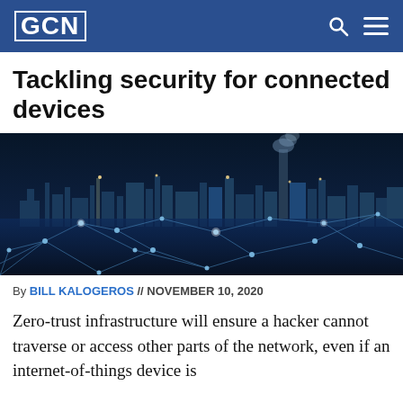GCN
Tackling security for connected devices
[Figure (photo): Night-time industrial facility/refinery skyline with a digital network mesh overlay in the foreground, dark blue tones, connected nodes and lines representing IoT or network connectivity.]
By BILL KALOGEROS // NOVEMBER 10, 2020
Zero-trust infrastructure will ensure a hacker cannot traverse or access other parts of the network, even if an internet-of-things device is